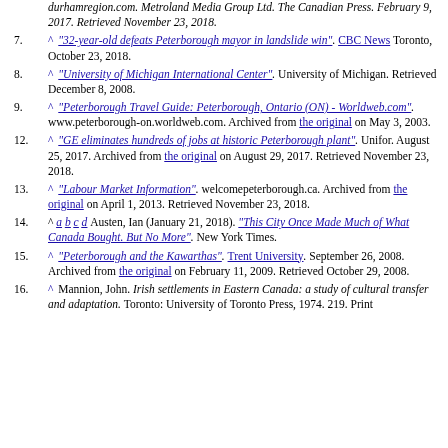(partial top) durhamregion.com. Metroland Media Group Ltd. The Canadian Press. February 9, 2017. Retrieved November 23, 2018.
7. ^ "32-year-old defeats Peterborough mayor in landslide win". CBC News Toronto, October 23, 2018.
8. ^ "University of Michigan International Center". University of Michigan. Retrieved December 8, 2008.
9. ^ "Peterborough Travel Guide: Peterborough, Ontario (ON) - Worldweb.com". www.peterborough-on.worldweb.com. Archived from the original on May 3, 2003.
10. ^ "GE eliminates hundreds of jobs at historic Peterborough plant". Unifor. August 25, 2017. Archived from the original on August 29, 2017. Retrieved November 23, 2018.
11. ^ "Labour Market Information". welcomepeterborough.ca. Archived from the original on April 1, 2013. Retrieved November 23, 2018.
12. ^ a b c d Austen, Ian (January 21, 2018). "This City Once Made Much of What Canada Bought. But No More". New York Times.
13. ^ "Peterborough and the Kawarthas". Trent University. September 26, 2008. Archived from the original on February 11, 2009. Retrieved October 29, 2008.
14. ^ Mannion, John. Irish settlements in Eastern Canada: a study of cultural transfer and adaptation. Toronto: University of Toronto Press, 1974. 219. Print